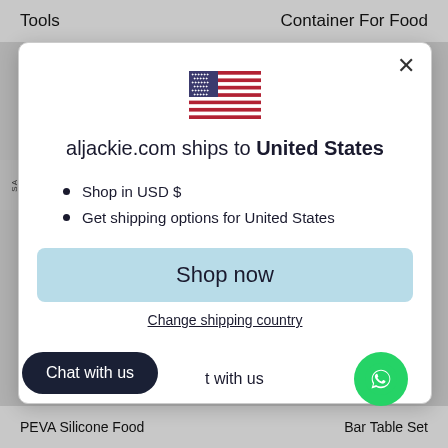Tools   Container For Food
[Figure (screenshot): Modal dialog on aljackie.com website showing US flag, shipping information and shop now button]
aljackie.com ships to United States
Shop in USD $
Get shipping options for United States
Shop now
Change shipping country
Chat with us
t with us
PEVA Silicone Food   Bar Table Set